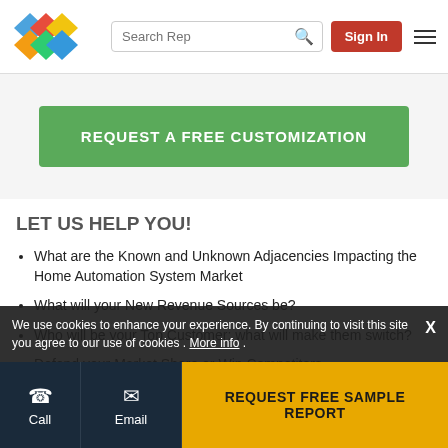Search Rep | Sign In
REQUEST A FREE CUSTOMIZATION
LET US HELP YOU!
What are the Known and Unknown Adjacencies Impacting the Home Automation System Market
What will your New Revenue Sources be?
Who will be your Top Customer; what will make them switch?
Defend your Market Share or Win Competitors
We use cookies to enhance your experience. By continuing to visit this site you agree to our use of cookies . More info .
Call | Email | REQUEST FREE SAMPLE REPORT